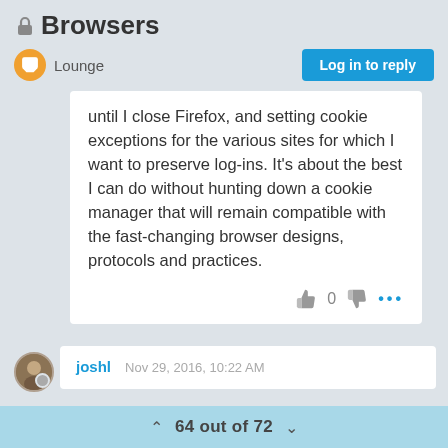🔒 Browsers
Lounge
Log in to reply
until I close Firefox, and setting cookie exceptions for the various sites for which I want to preserve log-ins. It's about the best I can do without hunting down a cookie manager that will remain compatible with the fast-changing browser designs, protocols and practices.
joshl   Nov 29, 2016, 10:22 AM
64 out of 72